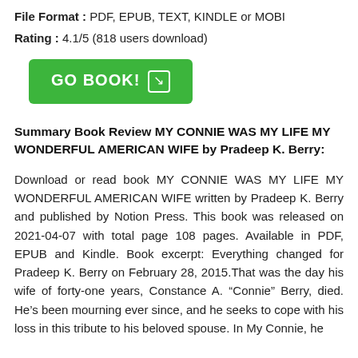File Format : PDF, EPUB, TEXT, KINDLE or MOBI
Rating : 4.1/5 (818 users download)
[Figure (other): Green GO BOOK! button with arrow icon]
Summary Book Review MY CONNIE WAS MY LIFE MY WONDERFUL AMERICAN WIFE by Pradeep K. Berry:
Download or read book MY CONNIE WAS MY LIFE MY WONDERFUL AMERICAN WIFE written by Pradeep K. Berry and published by Notion Press. This book was released on 2021-04-07 with total page 108 pages. Available in PDF, EPUB and Kindle. Book excerpt: Everything changed for Pradeep K. Berry on February 28, 2015.That was the day his wife of forty-one years, Constance A. “Connie” Berry, died. He’s been mourning ever since, and he seeks to cope with his loss in this tribute to his beloved spouse. In My Connie, he